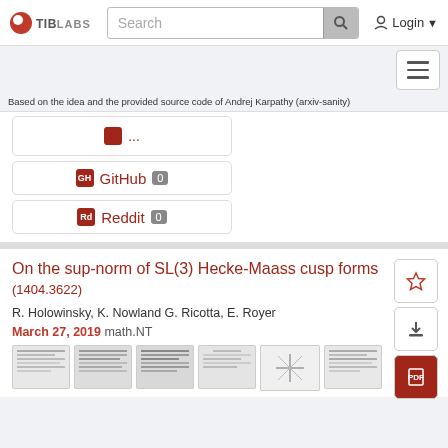TIB LABS  Search  Login
Based on the idea and the provided source code of Andrej Karpathy (arxiv-sanity)
GitHub 0
Reddit 0
On the sup-norm of SL(3) Hecke-Maass cusp forms (1404.3622)
R. Holowinsky, K. Nowland G. Ricotta, E. Royer
March 27, 2019 math.NT
[Figure (other): Six thumbnail previews of document pages]